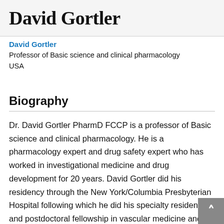David Gortler
David Gortler
Professor of Basic science and clinical pharmacology
USA
Biography
Dr. David Gortler PharmD FCCP is a professor of Basic science and clinical pharmacology. He is a pharmacology expert and drug safety expert who has worked in investigational medicine and drug development for 20 years. David Gortler did his residency through the New York/Columbia Presbyterian Hospital following which he did his specialty residency and postdoctoral fellowship in vascular medicine and investigational medicine work at The Yale University School of Medicine where he conducted multiple clinical trials. His investigational medicine career continued as an investigational medicine research